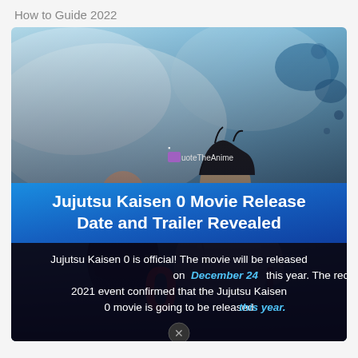How to Guide 2022
[Figure (illustration): Anime illustration from Jujutsu Kaisen 0 showing two characters from behind against a blue/teal smoky background. A female character with long black hair on the left, and a male character in a white jacket on the right. Overlaid with a QuoteTheAnime watermark, a blue banner with the title, and a dark text box with article description.]
Jujutsu Kaisen 0 Movie Release Date and Trailer Revealed
Jujutsu Kaisen 0 is official! The movie will be released on December 24 this year. The recent Juju Fest 2021 event confirmed that the Jujutsu Kaisen 0 movie is going to be released this year.